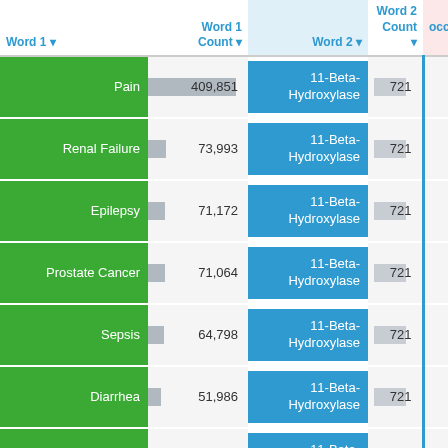| Word 1 | Word 1 Count | Word 2 | Word 2 Count | Co-occurrence |
| --- | --- | --- | --- | --- |
| Pain | 409,851 | 11-Beta-Hydroxylase | 721 | 1 |
| Renal Failure | 73,993 | 11-Beta-Hydroxylase | 721 | 1 |
| Epilepsy | 71,172 | 11-Beta-Hydroxylase | 721 | 1 |
| Prostate Cancer | 71,064 | 11-Beta-Hydroxylase | 721 | 1 |
| Sepsis | 64,798 | 11-Beta-Hydroxylase | 721 | 1 |
| Diarrhea | 51,986 | 11-Beta-Hydroxylase | 721 | 1 |
| Seizure | 44,685 | 11-Beta-Hydroxylase | 721 | 1 |
| Meningitis | 41,685 | 11-Beta-Hydroxylase | 721 | 1 |
| Arrhythmia | 39,330 | 11-Beta-Hydroxylase | 721 | 1 |